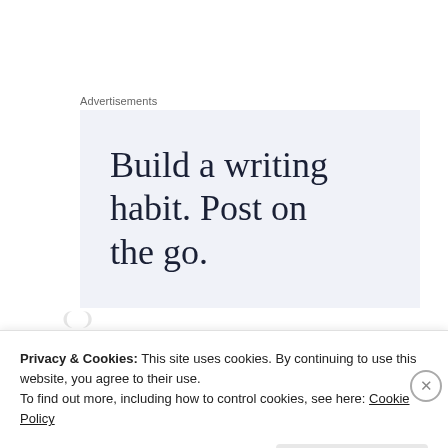Advertisements
[Figure (illustration): Advertisement banner with light blue-gray background displaying the text 'Build a writing habit. Post on the go.' in large serif font]
Privacy & Cookies: This site uses cookies. By continuing to use this website, you agree to their use.
To find out more, including how to control cookies, see here: Cookie Policy
Close and accept